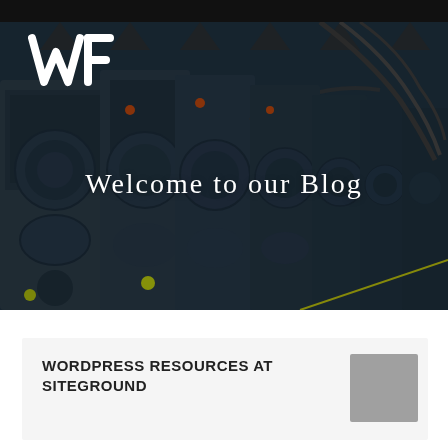[Figure (photo): Hero banner image showing rows of industrial printing machinery in a dark factory setting, with a white abstract logo (WF) in the top-left corner and 'Welcome to our Blog' text overlaid in white center.]
Welcome to our Blog
WORDPRESS RESOURCES AT SITEGROUND